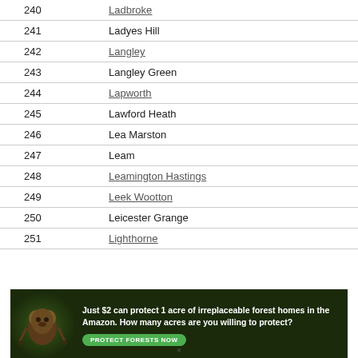| Number | Name |
| --- | --- |
| 240 | Ladbroke |
| 241 | Ladyes Hill |
| 242 | Langley |
| 243 | Langley Green |
| 244 | Lapworth |
| 245 | Lawford Heath |
| 246 | Lea Marston |
| 247 | Leam |
| 248 | Leamington Hastings |
| 249 | Leek Wootton |
| 250 | Leicester Grange |
| 251 | Lighthorne |
[Figure (infographic): Advertisement banner: dark forest background with a sloth image. Text reads: 'Just $2 can protect 1 acre of irreplaceable forest homes in the Amazon. How many acres are you willing to protect?' with a green 'PROTECT FORESTS NOW' button.]
×